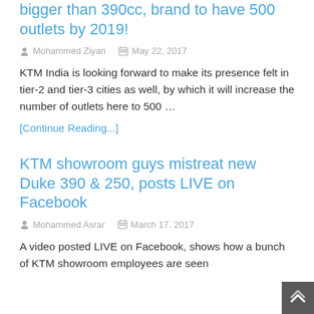bigger than 390cc, brand to have 500 outlets by 2019!
Mohammed Ziyan   May 22, 2017
KTM India is looking forward to make its presence felt in tier-2 and tier-3 cities as well, by which it will increase the number of outlets here to 500 …
[Continue Reading...]
KTM showroom guys mistreat new Duke 390 & 250, posts LIVE on Facebook
Mohammed Asrar   March 17, 2017
A video posted LIVE on Facebook, shows how a bunch of KTM showroom employees are seen